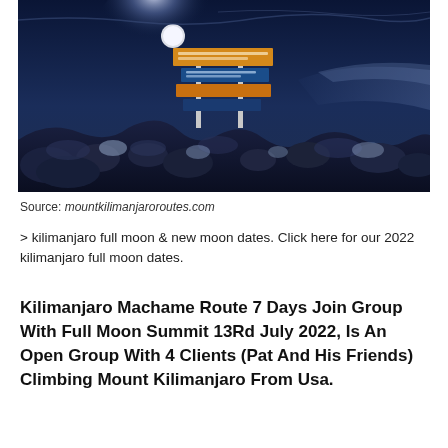[Figure (photo): Night photo of Kilimanjaro summit sign on rocky terrain under a bright full moon with blue-lit sky and clouds in the background]
Source: mountkilimanjaroroutes.com
> kilimanjaro full moon & new moon dates. Click here for our 2022 kilimanjaro full moon dates.
Kilimanjaro Machame Route 7 Days Join Group With Full Moon Summit 13Rd July 2022, Is An Open Group With 4 Clients (Pat And His Friends) Climbing Mount Kilimanjaro From Usa.